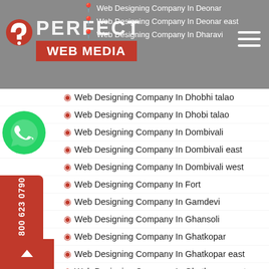Perfect Web Media - header with logo and navigation
Web Designing Company In Deonar
Web Designing Company In Deonar east
Web Designing Company In Dharavi
Web Designing Company In Dhobhi talao
Web Designing Company In Dhobi talao
Web Designing Company In Dombivali
Web Designing Company In Dombivali east
Web Designing Company In Dombivali west
Web Designing Company In Fort
Web Designing Company In Gamdevi
Web Designing Company In Ghansoli
Web Designing Company In Ghatkopar
Web Designing Company In Ghatkopar east
Web Designing Company In Ghatkopar west
Web Designing Company In Girgaon
Web Designing Company In Girgaon chowpatty
Web Designing Company In Goregaon east
Web Designing Company In Goregaon east